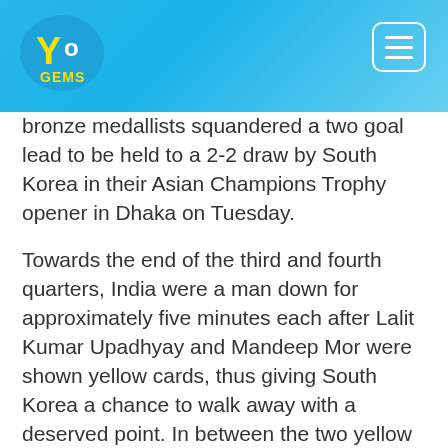[Figure (logo): YoGems logo on blue gradient header background with hamburger menu button]
bronze medallists squandered a two goal lead to be held to a 2-2 draw by South Korea in their Asian Champions Trophy opener in Dhaka on Tuesday.
Towards the end of the third and fourth quarters, India were a man down for approximately five minutes each after Lalit Kumar Upadhyay and Mandeep Mor were shown yellow cards, thus giving South Korea a chance to walk away with a deserved point. In between the two yellow cards were a few two-minute sending-offs for Indian players, thus breaking the team's rhythm.
This was India's first match beingovic in the